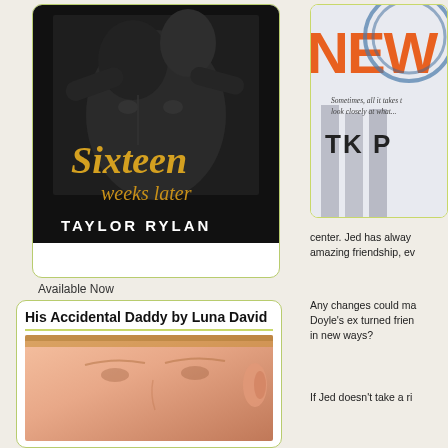[Figure (photo): Book cover: Sixteen Weeks Later by Taylor Rylan - black and white photo of shirtless man reclining, with golden script title text]
Available Now
His Accidental Daddy by Luna David
[Figure (photo): Close-up photo of a person's face/ear, warm skin tones]
[Figure (photo): Partially visible book cover with large orange text NEW and author TK P... with tagline Sometimes, all it takes is look closely at what...]
center. Jed has always amazing friendship, ev
Any changes could ma Doyle's ex turned frien in new ways?
If Jed doesn't take a ri